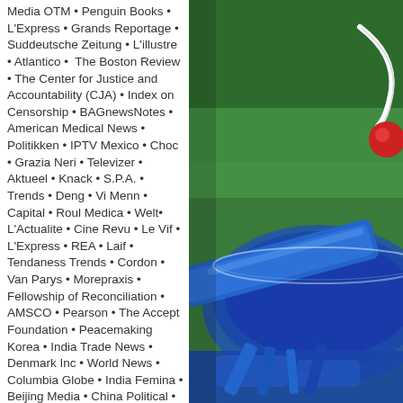Media OTM • Penguin Books • L'Express • Grands Reportage • Suddeutsche Zeitung • L'illustre • Atlantico •  The Boston Review • The Center for Justice and Accountability (CJA) • Index on Censorship • BAGnewsNotes • American Medical News • Politikken • IPTV Mexico • Choc • Grazia Neri • Televizer • Aktueel • Knack • S.P.A. • Trends • Deng • Vi Menn • Capital • Roul Medica • Welt• L'Actualite • Cine Revu • Le Vif • L'Express • REA • Laif • Tendaness Trends • Cordon • Van Parys • Morepraxis • Fellowship of Reconciliation • AMSCO • Pearson • The Accept Foundation • Peacemaking Korea • India Trade News • Denmark Inc • World News • Columbia Globe • India Femina • Beijing Media • China Political • Business Stockholm • Business Daily • Europe Daily • Elle Taiwan • Oregon Examiner • Yangtze News • Offshore Investment News • WN Education • China News Agency • Education Chronicle • Situation • NYK Inc •
[Figure (photo): Close-up photo of blue medical/surgical instruments or tools on a green background, with gloved hands visible. The instruments appear to be surgical tools like forceps or clamps in blue coloring.]